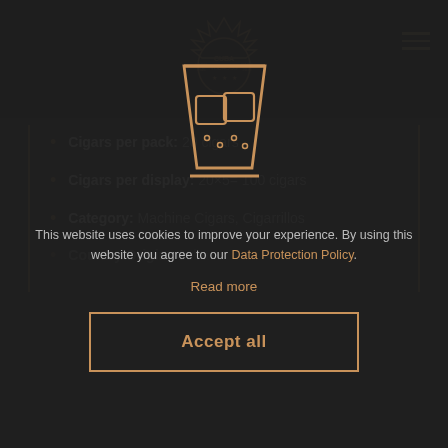Logo - Cuba Tobacco brand badge
Cigars per pack: 20 cigars
Cigars per display: 20×5= 100 cigars
Category: Machine Cigars, Cigarrillos
Country Origin: Cuba
[Figure (illustration): Whiskey glass icon with ice cubes, drawn in amber/gold outline style on dark background]
This website uses cookies to improve your experience. By using this website you agree to our Data Protection Policy.
Read more
Accept all